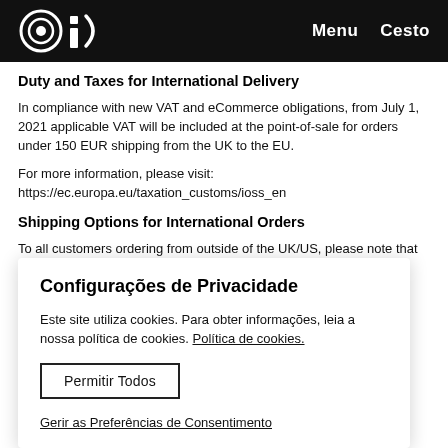Menu  Cesto
Duty and Taxes for International Delivery
In compliance with new VAT and eCommerce obligations, from July 1, 2021 applicable VAT will be included at the point-of-sale for orders under 150 EUR shipping from the UK to the EU.
For more information, please visit:
https://ec.europa.eu/taxation_customs/ioss_en
Shipping Options for International Orders
To all customers ordering from outside of the UK/US, please note that...
Configurações de Privacidade
Este site utiliza cookies. Para obter informações, leia a nossa política de cookies. Política de cookies.
Permitir Todos
Gerir as Preferências de Consentimento